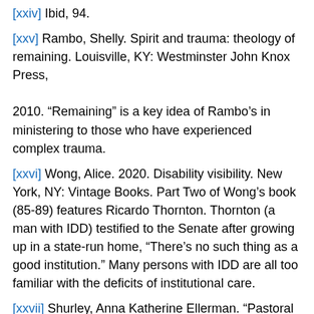[xxiv] Ibid, 94.
[xxv] Rambo, Shelly. Spirit and trauma: theology of remaining. Louisville, KY: Westminster John Knox Press, 2010. “Remaining” is a key idea of Rambo’s in ministering to those who have experienced complex trauma.
[xxvi] Wong, Alice. 2020. Disability visibility. New York, NY: Vintage Books. Part Two of Wong’s book (85-89) features Ricardo Thornton. Thornton (a man with IDD) testified to the Senate after growing up in a state-run home, “There’s no such thing as a good institution.” Many persons with IDD are all too familiar with the deficits of institutional care.
[xxvii] Shurley, Anna Katherine Ellerman. “Pastoral care”, 100-101.
[xxviii] Harshaw, Jill Ruth. 2010. “Prophetic Voices, Silent